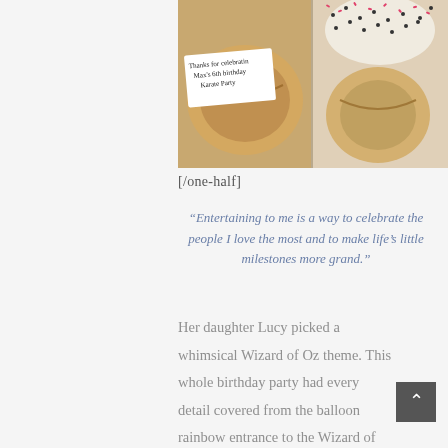[Figure (photo): Two fortune cookies side by side. Left cookie is open showing a fortune tag that reads 'Thanks for celebratin Max's 6th birthday Karate Party'. Right cookie is decorated with pink and black sprinkles on white chocolate.]
[/one-half]
“Entertaining to me is a way to celebrate the people I love the most and to make life’s little milestones more grand.”
Her daughter Lucy picked a whimsical Wizard of Oz theme. This whole birthday party had every detail covered from the balloon rainbow entrance to the Wizard of Oz characters. The invitation was bright and colorful, two-sided with a pocket on the back and multiple layers.